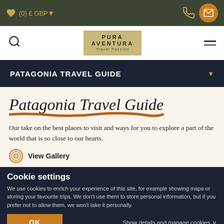♥ (0) £ GBP▼
[Figure (logo): Pura Aventura logo with tan/gold background, text 'PURA AVENTURA Travel Passion']
PATAGONIA TRAVEL GUIDE
[Figure (illustration): Handwritten script text reading 'Patagonia Travel Guide' with an orange/rust colored brush stroke underline]
Our take on the best places to visit and ways for you to explore a part of the world that is so close to our hearts.
View Gallery
Cookie settings
We use cookies to enrich your experience of this site, for example showing maps or storing your favourite trips. We don't use them to store personal information, but if you prefer not to allow them, we won't take it personally.
OK
Show details and manage cookies